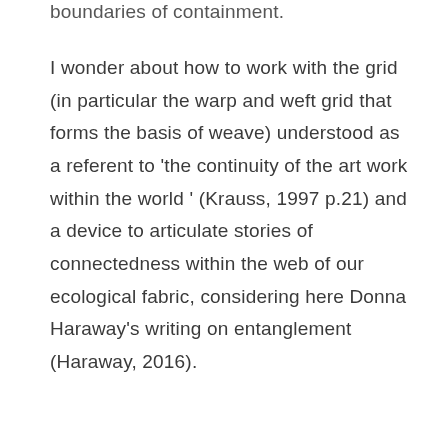boundaries of containment.
I wonder about how to work with the grid (in particular the warp and weft grid that forms the basis of weave) understood as a referent to ‘the continuity of the art work within the world’ (Krauss, 1997 p.21) and a device to articulate stories of connectedness within the web of our ecological fabric, considering here Donna Haraway’s writing on entanglement (Haraway, 2016).